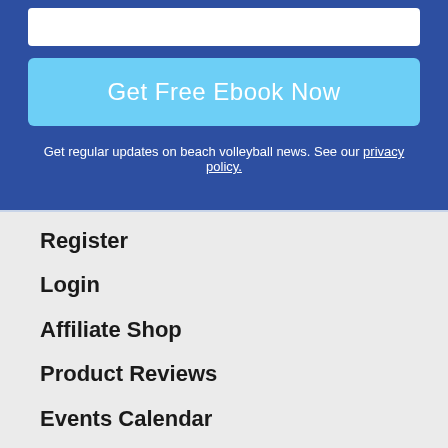[Figure (screenshot): White input text box partially visible at top]
Get Free Ebook Now
Get regular updates on beach volleyball news. See our privacy policy.
Register
Login
Affiliate Shop
Product Reviews
Events Calendar
About & Contact